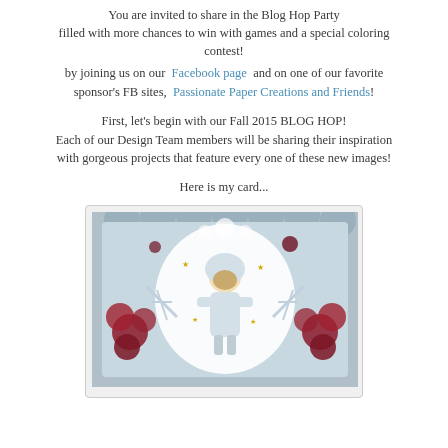You are invited to share in the Blog Hop Party filled with more chances to win with games and a special coloring contest!
by joining us on our Facebook page and on one of our favorite sponsor's FB sites, Passionate Paper Creations and Friends!
First, let's begin with our Fall 2015 BLOG HOP! Each of our Design Team members will be sharing their inspiration with gorgeous projects that feature every one of these new images!
Here is my card...
[Figure (photo): A handmade card featuring a small girl in a winter coat holding something, surrounded by red flowers, silver snowflakes, and decorative lace elements on a grey scalloped background.]